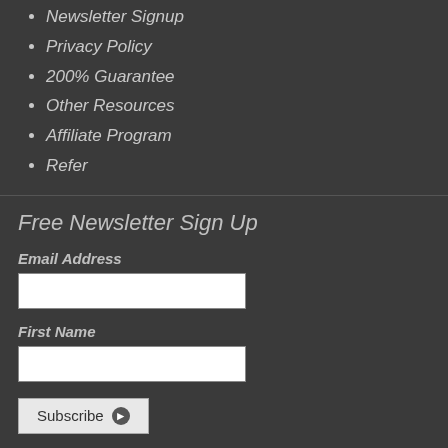Newsletter Signup
Privacy Policy
200% Guarantee
Other Resources
Affiliate Program
Refer
Free Newsletter Sign Up
Email Address
First Name
Subscribe